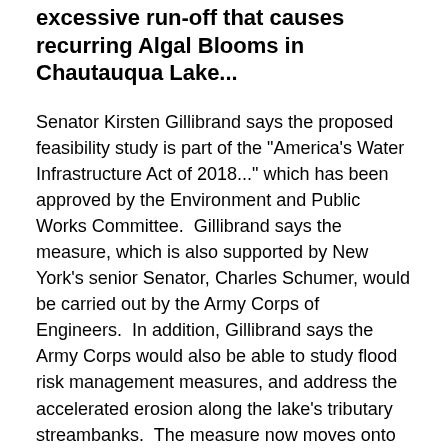excessive run-off that causes recurring Algal Blooms in Chautauqua Lake...
Senator Kirsten Gillibrand says the proposed feasibility study is part of the "America's Water Infrastructure Act of 2018..." which has been approved by the Environment and Public Works Committee.  Gillibrand says the measure, which is also supported by New York's senior Senator, Charles Schumer, would be carried out by the Army Corps of Engineers.  In addition, Gillibrand says the Army Corps would also be able to study flood risk management measures, and address the accelerated erosion along the lake's tributary streambanks.  The measure now moves onto the full Senate for a vote.
A young, Red Oak Tree found a new home in Roseland Park Wednesday afternoon as the City of Jamestown Parks, Recreation and Conservation